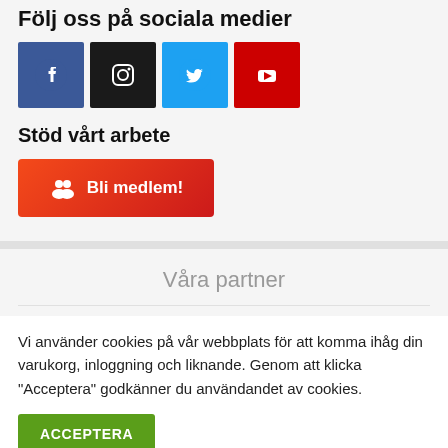Följ oss på sociala medier
[Figure (infographic): Four social media icons: Facebook (blue), Instagram (black), Twitter (light blue), YouTube (red)]
Stöd vårt arbete
[Figure (infographic): Red gradient button with group icon and text 'Bli medlem!']
Våra partner
Vi använder cookies på vår webbplats för att komma ihåg din varukorg, inloggning och liknande. Genom att klicka "Acceptera" godkänner du användandet av cookies.
ACCEPTERA